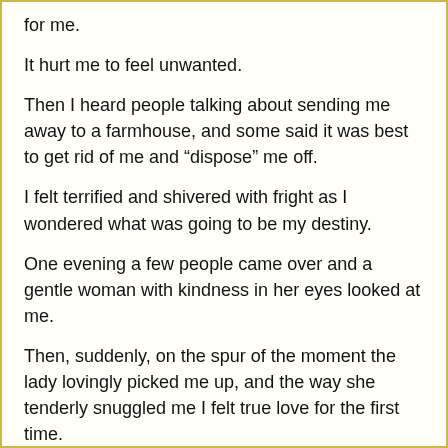for me.
It hurt me to feel unwanted.
Then I heard people talking about sending me away to a farmhouse, and some said it was best to get rid of me and “dispose” me off.
I felt terrified and shivered with fright as I wondered what was going to be my destiny.
One evening a few people came over and a gentle woman with kindness in her eyes looked at me.
Then, suddenly, on the spur of the moment the lady lovingly picked me up, and the way she tenderly snuggled me I felt true love for the first time.
This was my new mother.
She took me securely and lovingly in her soft hands, got into a car and they all drove across Pune, past Aundh, crossed